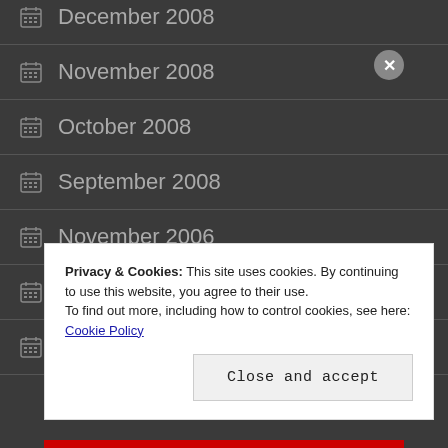December 2008
November 2008
October 2008
September 2008
November 2006
October 2006
September 2006
Privacy & Cookies: This site uses cookies. By continuing to use this website, you agree to their use. To find out more, including how to control cookies, see here: Cookie Policy
Close and accept